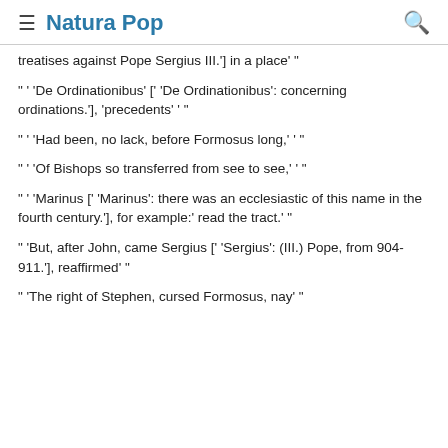Natura Pop
treatises against Pope Sergius III.'] in a place' "
" ' 'De Ordinationibus' [' 'De Ordinationibus': concerning ordinations.'], 'precedents' ' "
" ' 'Had been, no lack, before Formosus long,' ' "
" ' 'Of Bishops so transferred from see to see,' ' "
" ' 'Marinus [' 'Marinus': there was an ecclesiastic of this name in the fourth century.'], for example:' read the tract.' "
" 'But, after John, came Sergius [' 'Sergius': (III.) Pope, from 904-911.'], reaffirmed' "
" 'The right of Stephen, cursed Formosus, nay' "